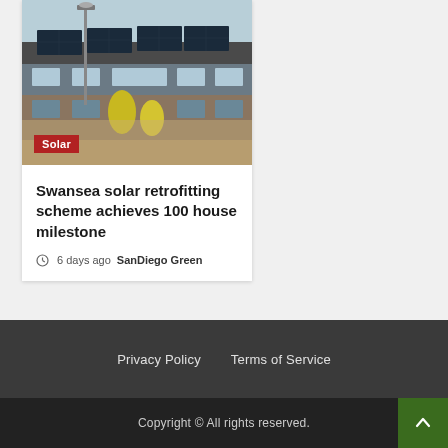[Figure (photo): A residential building with solar panels on the roof, a street lamp in the foreground, and yellow shrubs/trees visible. Tagged with a red 'Solar' badge in the lower left.]
Swansea solar retrofitting scheme achieves 100 house milestone
6 days ago  SanDiego Green
Privacy Policy   Terms of Service
Copyright © All rights reserved.